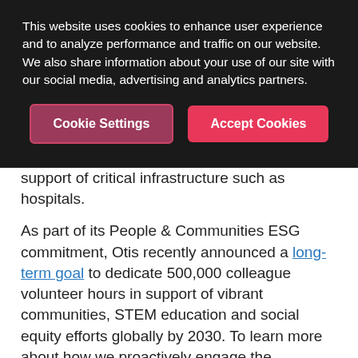This website uses cookies to enhance user experience and to analyze performance and traffic on our website. We also share information about your use of our site with our social media, advertising and analytics partners.
[Figure (other): Cookie consent dialog with two buttons: 'Cookie Settings' (dark red/maroon with border) and 'Accept Cookies' (bright pink/red)]
support of critical infrastructure such as hospitals.
As part of its People & Communities ESG commitment, Otis recently announced a long-term goal to dedicate 500,000 colleague volunteer hours in support of vibrant communities, STEM education and social equity efforts globally by 2030. To learn more about how we proactively engage the communities around us by supporting causes and projects that make a tangible difference, visit our Social Impact page.